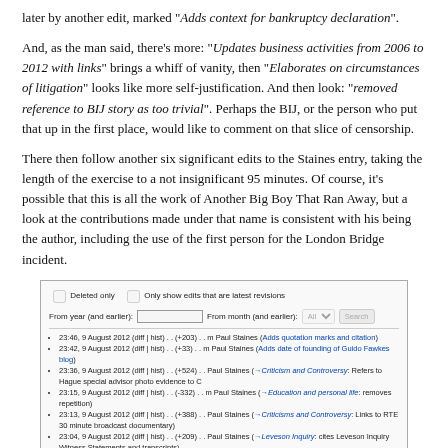later by another edit, marked “Adds context for bankruptcy declaration”.
And, as the man said, there’s more: “Updates business activities from 2006 to 2012 with links” brings a whiff of vanity, then “Elaborates on circumstances of litigation” looks like more self-justification. And then look: “removed reference to BIJ story as too trivial”. Perhaps the BIJ, or the person who put that up in the first place, would like to comment on that slice of censorship.
There then follow another six significant edits to the Staines entry, taking the length of the exercise to a not insignificant 95 minutes. Of course, it’s possible that this is all the work of Another Big Boy That Ran Away, but a look at the contributions made under that name is consistent with his being the author, including the use of the first person for the London Bridge incident.
[Figure (screenshot): Wikipedia edit history screenshot showing a list of edits by Paul Staines on 9 August 2012 and 22 January 2012, with checkboxes for 'Deleted only' and 'Only show edits that are latest revisions', date fields, and a Search button. The list includes edits such as 'Adds quotation marks and citation', 'Adds date of founding of Guido Fawkes blog', 'Refers to Hague special advisor photo evidence', 'removes repetition', 'Links to RTE 30 minute broadcast documentary', 'cites Leveson Inquiry Witness Statements and transcripts', 'removed reference to BIJ story as too trivial', 'Elaborates on circumstances of litigation', 'Corrects Private Eye link', 'Improves phrasing', 'Updates business activities from 2006 to 2012 with links', 'Adds context for bankruptcy declaration', 'removed false claim that I knocked over a camera woman', and entries from January 2012.]